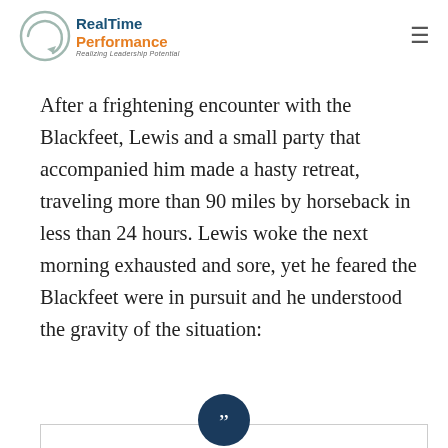[Figure (logo): RealTime Performance logo with circular arrow icon, tagline 'Realizing Leadership Potential', and hamburger menu icon on the right]
After a frightening encounter with the Blackfeet, Lewis and a small party that accompanied him made a hasty retreat, traveling more than 90 miles by horseback in less than 24 hours. Lewis woke the next morning exhausted and sore, yet he feared the Blackfeet were in pursuit and he understood the gravity of the situation: